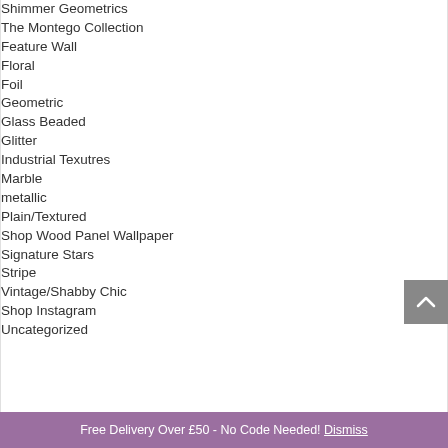Shimmer Geometrics
The Montego Collection
Feature Wall
Floral
Foil
Geometric
Glass Beaded
Glitter
Industrial Texutres
Marble
metallic
Plain/Textured
Shop Wood Panel Wallpaper
Signature Stars
Stripe
Vintage/Shabby Chic
Shop Instagram
Uncategorized
Free Delivery Over £50 - No Code Needed! Dismiss